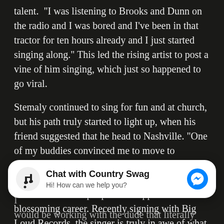talent. "I was listening to Brooks and Dunn on the radio and I was bored and I've been in that tractor for ten hours already and I just started singing along." This led the rising artist to post a vine of him singing, which just so happened to go viral.
Stemaly continued to sing for fun and at church, but his path truly started to light up, when his friend suggested that he head to Nashville. "One of my buddies convinced me to move to Nashville and I took the jump." Thankfully he did! Since moving to Nashville, Stemaly has found his team of people that support his blossoming career. Recently signing with Big Loud Records, the singer is truly in awe of what his life has become. Interestingly enough he ended up
[Figure (other): Chat widget overlay: music note logo icon on left, bold text 'Chat with Country Swag' with subtitle 'Hi! How can we help you?', and blue Facebook Messenger icon on right]
fan. He admits, "I never would have thought that I would be working with the dude that literally